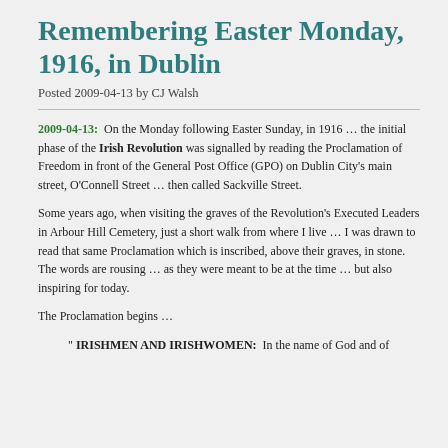Remembering Easter Monday, 1916, in Dublin
Posted 2009-04-13 by CJ Walsh
2009-04-13: On the Monday following Easter Sunday, in 1916 … the initial phase of the Irish Revolution was signalled by reading the Proclamation of Freedom in front of the General Post Office (GPO) on Dublin City's main street, O'Connell Street … then called Sackville Street.
Some years ago, when visiting the graves of the Revolution's Executed Leaders in Arbour Hill Cemetery, just a short walk from where I live … I was drawn to read that same Proclamation which is inscribed, above their graves, in stone. The words are rousing … as they were meant to be at the time … but also inspiring for today.
The Proclamation begins …
" IRISHMEN AND IRISHWOMEN: In the name of God and of